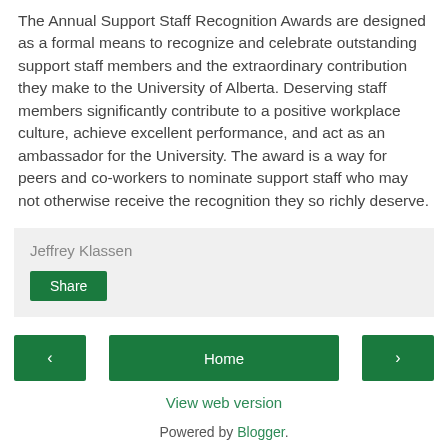The Annual Support Staff Recognition Awards are designed as a formal means to recognize and celebrate outstanding support staff members and the extraordinary contribution they make to the University of Alberta. Deserving staff members significantly contribute to a positive workplace culture, achieve excellent performance, and act as an ambassador for the University. The award is a way for peers and co-workers to nominate support staff who may not otherwise receive the recognition they so richly deserve.
Jeffrey Klassen
Share
‹
Home
›
View web version
Powered by Blogger.